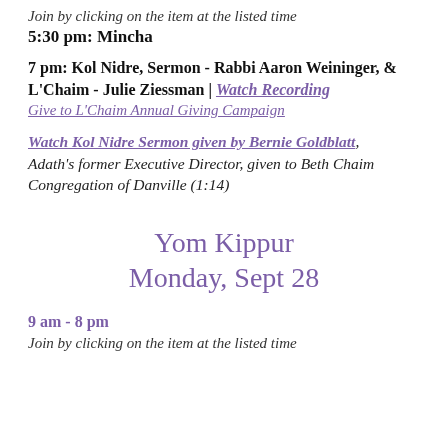Join by clicking on the item at the listed time
5:30 pm: Mincha
7 pm: Kol Nidre, Sermon - Rabbi Aaron Weininger, & L'Chaim - Julie Ziessman | Watch Recording
Give to L'Chaim Annual Giving Campaign
Watch Kol Nidre Sermon given by Bernie Goldblatt, Adath's former Executive Director, given to Beth Chaim Congregation of Danville (1:14)
Yom Kippur
Monday, Sept 28
9 am - 8 pm
Join by clicking on the item at the listed time